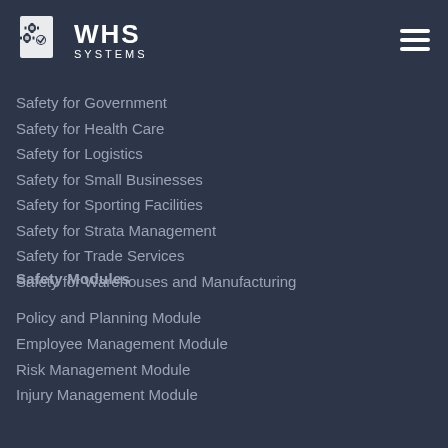[Figure (logo): WHS Systems logo with gear/shield icon and text 'WHS SYSTEMS']
Safety for Government
Safety for Health Care
Safety for Logistics
Safety for Small Businesses
Safety for Sporting Facilities
Safety for Strata Management
Safety for Trade Services
Safety for Warehouses and Manufacturing
Safety Modules
Policy and Planning Module
Employee Management Module
Risk Management Module
Injury Management Module